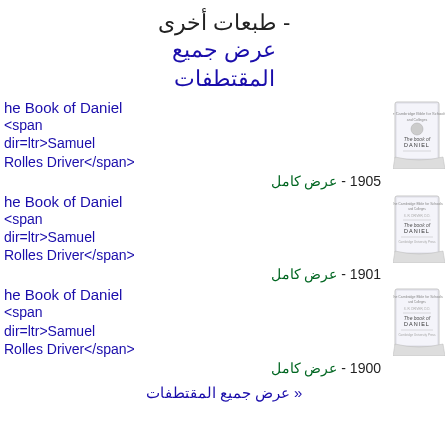طبعات أخرى - عرض جميع المقتطفات
The Book of Daniel <span dir=ltr>Samuel Rolles Driver</span> - عرض كامل - 1905
The Book of Daniel <span dir=ltr>Samuel Rolles Driver</span> - عرض كامل - 1901
The Book of Daniel <span dir=ltr>Samuel Rolles Driver</span> - عرض كامل - 1900
عرض جميع المقتطفات »